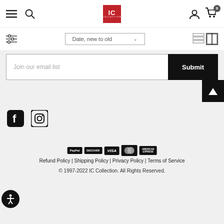IC Collection navigation header with hamburger menu, search, logo, user account, and cart (0)
Date, new to old
[Figure (screenshot): Email signup form with 'Join our email list' input field and black Submit button]
[Figure (illustration): Facebook and Instagram social media icons]
[Figure (illustration): Payment method icons: PayPal, Discover, Visa, Mastercard, American Express]
Refund Policy | Shipping Policy | Privacy Policy | Terms of Service
© 1997-2022 IC Collection. All Rights Reserved.